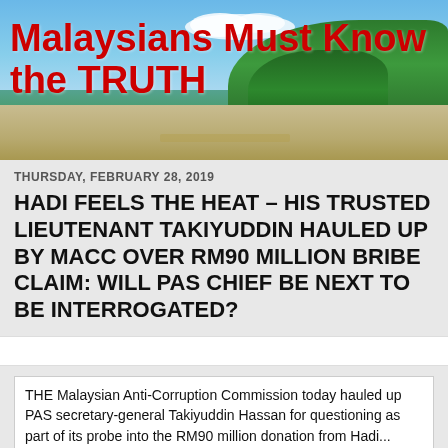Malaysians Must Know the TRUTH
THURSDAY, FEBRUARY 28, 2019
HADI FEELS THE HEAT – HIS TRUSTED LIEUTENANT TAKIYUDDIN HAULED UP BY MACC OVER RM90 MILLION BRIBE CLAIM: WILL PAS CHIEF BE NEXT TO BE INTERROGATED?
THE Malaysian Anti-Corruption Commission today hauled up PAS secretary-general Takiyuddin Hassan for questioning as part of its probe into the RM90 million donation from Hadi...